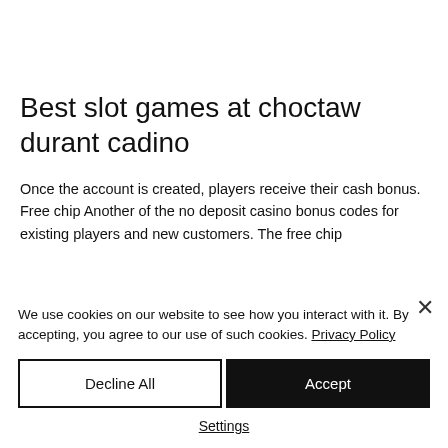Best slot games at choctaw durant cadino
Once the account is created, players receive their cash bonus. Free chip Another of the no deposit casino bonus codes for existing players and new customers. The free chip
We use cookies on our website to see how you interact with it. By accepting, you agree to our use of such cookies. Privacy Policy
Decline All
Accept
Settings